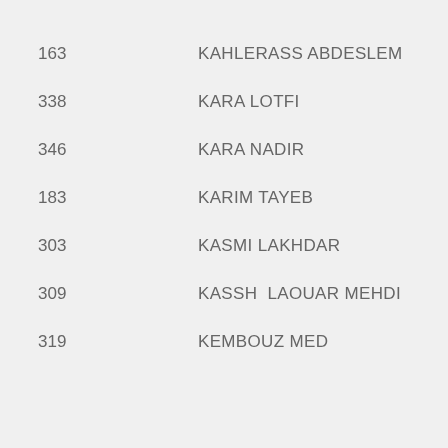163  KAHLERASS ABDESLEM
338  KARA LOTFI
346  KARA NADIR
183  KARIM TAYEB
303  KASMI LAKHDAR
309  KASSH  LAOUAR MEHDI
319  KEMBOUZ MED